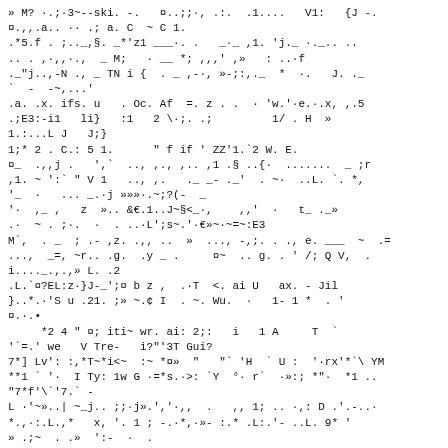» M? ·.;·3~--ski. -.	¤..;;·, .:. .1....  V1:	{J -.
¤.,,.a.. ·· .; a. C  ~ C 1.
.*5.f . ;.._, §. _*'z1 ___·. .	_·_ ,1. 'j._ ·._.. ..
.. . ,·,,·.,  _ M;	· __ *; ,,,' ,»	: ..·f
._"j..,-N ., _ TN i {  . _ ,-·, »-;:,._  *  ·.	J. ._
` -  -~,...'
.a. .x. ifs. u   . Oc. Af  =. z . .  · 'w.'·e.·.x, ,.5
.;E3:-i1   li}	:1   2 \·;. .;		1/ . H  »
1.:...L J   J;}
1;* 2 . C.: 5 1.	" f if ' ZZ'1.`2 W. E.
¤_  .,,j .   ',`  .., ,., ,.. ,1 .§ ..{·  .......	_ ;r
,1. ~ ':` " V 1   .., ,.	._ _- ._'  . ~·  ..L. `. *,
'_ ·   ... _.·j »»»·.~;?(-  _
'·  ,_ ,	z  ».. &€.1..J~§<_·,    ,,' ·   t_ ._»
.· ~ . ;·.  · . ..·L';s~.'·€»~·~=~:E3
M`,  . _  ; .- ,z. .,, ..  »  ..., -,;. . ., e. ___  ~  .=
...,  _=, ~r.. .g.  .y _ .   ¤~  .. g. . ' /; Q V,  .
i...._.,.,» L. .2
.L.`¤?EL:z·}J-_';¤ b z ,  .·T  <. ai U   ax. - Jil
}..*.·'S u .21. ;» ~.¢ I  . ~. Wu. ·   1- 1 *  . '
¤.·.•
	*2 4 " ¤; iti~ wr. ai: 2;:	i   1 A	T  `
'`=.' we   V Tre-   i?"'3T Gui?
7*] Lv': :,*T~*i<~  :~ *¤»  "	"` 'H  ` U :  '·rx'*`\ YM
**1 ` '·  I Ty: 1w G ·=*s.·>: `Y  °· r`  ·»:; *"·  *1 ..
"7*f'\`'7.` -
L ·'~»..| ~_j.. ;;·j».','·,,  .   ,, 1; .. ·,: D .'.-..·
*.,·:.L.,*	x, '. 1 ; -.·*,·»- :.* .L:.'- ..L. 9* '
» .;~  . .»  ':-  ·  .
. ::/,: [i;~ .. . · {· ..1 ;·:1*1 0